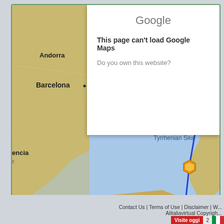[Figure (map): Google Maps screenshot showing Mediterranean region including Andorra, Barcelona, Valencia, Algiers (with Arabic text), Tunis (with Arabic text), Tunisia, Tripoli (with Arabic text), Malta, and Tyrrhenian Sea. A blue flight path line is drawn with yellow hexagonal waypoint markers and yellow arrow markers, with a green airplane icon near Malta. The map has a 'For development purposes only' watermark. A Google Maps error overlay says 'This page can't load Google Maps correctly.' and 'Do you own this website?']
Contact Us | Terms of Use | Disclaimer | W... Alitaliavirtual Copyright
Visite oggi 2